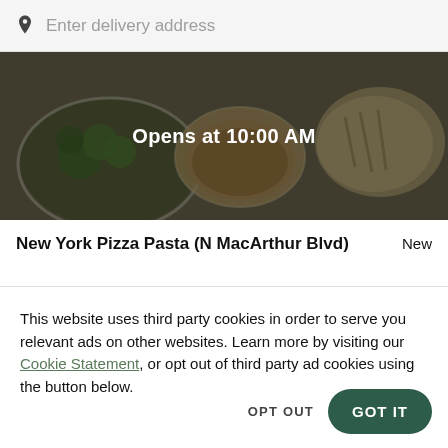Enter delivery address
[Figure (photo): Food photo showing plates of food including broccoli, a bowl of soup/beans, and flatbread/pita on a dark background with text overlay 'Opens at 10:00 AM']
New York Pizza Pasta (N MacArthur Blvd)
New
This website uses third party cookies in order to serve you relevant ads on other websites. Learn more by visiting our Cookie Statement, or opt out of third party ad cookies using the button below.
OPT OUT
GOT IT